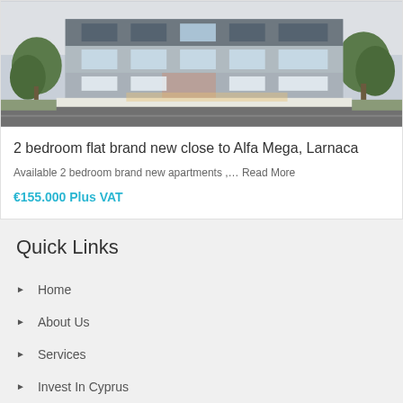[Figure (photo): Modern multi-story residential building with glass facade, balconies, and trees in front, viewed from street level]
2 bedroom flat brand new close to Alfa Mega, Larnaca
Available 2 bedroom brand new apartments ,… Read More
€155.000 Plus VAT
Quick Links
Home
About Us
Services
Invest In Cyprus